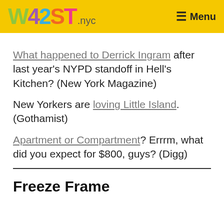W42ST.nyc | Menu
What happened to Derrick Ingram after last year's NYPD standoff in Hell's Kitchen? (New York Magazine)
New Yorkers are loving Little Island. (Gothamist)
Apartment or Compartment? Errrm, what did you expect for $800, guys? (Digg)
Freeze Frame